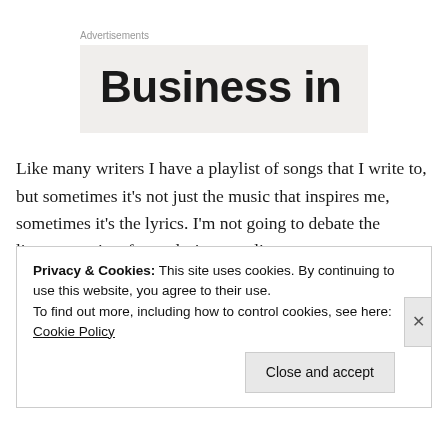Advertisements
Business in
Like many writers I have a playlist of songs that I write to, but sometimes it's not just the music that inspires me, sometimes it's the lyrics. I'm not going to debate the literary merits of song lyrics over literary poetry; to me they are the same. They convey and express emotions, they tell a story and they inspire. I remember the first time I
Privacy & Cookies: This site uses cookies. By continuing to use this website, you agree to their use.
To find out more, including how to control cookies, see here: Cookie Policy
Close and accept